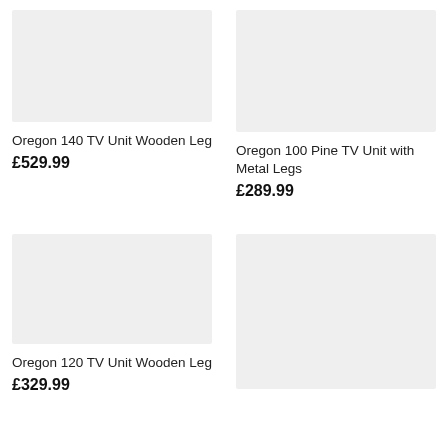[Figure (photo): Product image placeholder (light gray rectangle) for Oregon 140 TV Unit Wooden Leg]
Oregon 140 TV Unit Wooden Leg
£529.99
[Figure (photo): Product image placeholder (light gray rectangle) for Oregon 100 Pine TV Unit with Metal Legs]
Oregon 100 Pine TV Unit with Metal Legs
£289.99
[Figure (photo): Product image placeholder (light gray rectangle) for Oregon 120 TV Unit Wooden Leg]
Oregon 120 TV Unit Wooden Leg
£329.99
[Figure (photo): Product image placeholder (light gray rectangle) for fourth product]